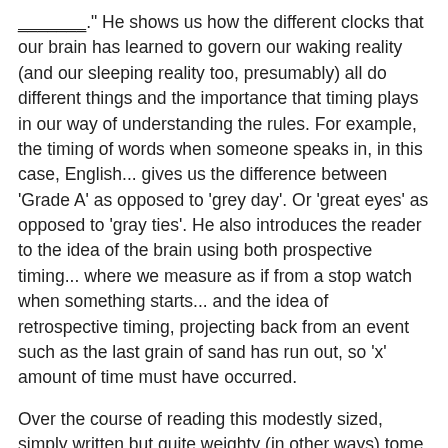<u>_______</u>." He shows us how the different clocks that our brain has learned to govern our waking reality (and our sleeping reality too, presumably) all do different things and the importance that timing plays in our way of understanding the rules. For example, the timing of words when someone speaks in, in this case, English... gives us the difference between 'Grade A' as opposed to 'grey day'. Or 'great eyes' as opposed to 'gray ties'. He also introduces the reader to the idea of the brain using both prospective timing... where we measure as if from a stop watch when something starts... and the idea of retrospective timing, projecting back from an event such as the last grain of sand has run out, so 'x' amount of time must have occurred.
Over the course of reading this modestly sized, simply written but quite weighty (in other ways) tome, I found that the way an organ in the body revs up to different kinds of sounds during time means, for example, you can feel as big difference if you hold your throat and feel the vibrations generated by saying 'ba' and 'pa'. So that could be a good party trick, I'm guessing (probably not but, honestly, I don't go to parties).